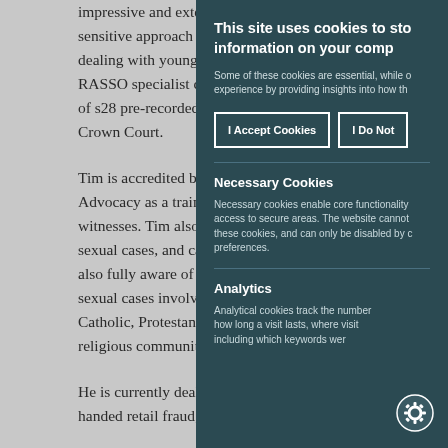impressive and extensive. sensitive approach makes dealing with young or vulnerable RASSO specialist counsel. of s28 pre-recorded cross-examination at Crown Court.
Tim is accredited by the Inns of Court College of Advocacy as a trainer/facilitator for vulnerable witnesses. Tim also often prosecutes and defends sexual cases, and cases involving children. Tim is also fully aware of diversity issues in relation to sexual cases involving the Muslim, Jewish, Catholic, Protestant, Baptist and other religious communities.
He is currently dealing with a large multi-handed retail fraud; five-handed...
This site uses cookies to store information on your computer.
Some of these cookies are essential, while others help us to improve your experience by providing insights into how the site is being used.
I Accept Cookies
I Do Not Accept Cookies
Necessary Cookies
Necessary cookies enable core functionality such as security, network management, and accessibility. You may disable these by changing your browser settings, but this may affect how the website functions.
Analytics
Analytical cookies track the number of visitors to the website, how long a visit lasts, where visitors come to the website from, including which keywords were used.